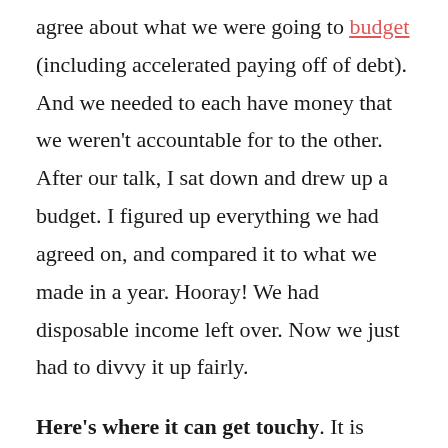agree about what we were going to budget (including accelerated paying off of debt). And we needed to each have money that we weren't accountable for to the other. After our talk, I sat down and drew up a budget. I figured up everything we had agreed on, and compared it to what we made in a year. Hooray! We had disposable income left over. Now we just had to divvy it up fairly.
Here's where it can get touchy. It is unlikely that both individuals will make the same amount of money. So what do you do? If you